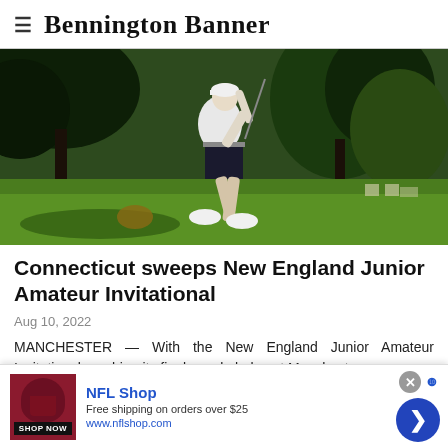≡ Bennington Banner
[Figure (photo): A golfer mid-swing on a golf course, wearing white shirt and dark shorts, with lush green trees in the background.]
Connecticut sweeps New England Junior Amateur Invitational
Aug 10, 2022
MANCHESTER — With the New England Junior Amateur Invitational reaching its final couple holes at Manchester
[Figure (other): NFL Shop advertisement banner. NFL Shop logo in dark red. Text: 'NFL Shop', 'Free shipping on orders over $25', 'www.nflshop.com', 'SHOP NOW' button. Close (x) button and forward arrow button.]